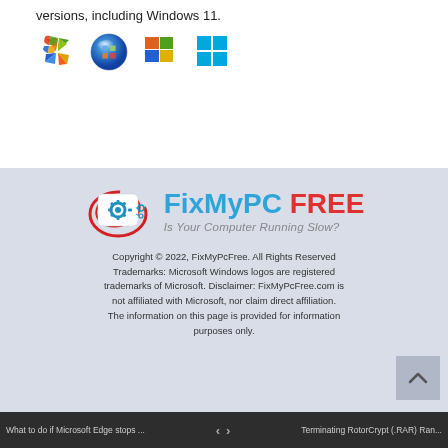versions, including Windows 11.
[Figure (logo): Four Windows logos: Windows XP (orange/green/red/blue flag), Windows Vista/7 (blue sphere), Windows 8 (blue/orange flag), Windows 10/11 (blue square grid)]
[Figure (logo): FixMyPC FREE logo with gear icon inside a rounded rectangle, encircled by a red swoosh. Text: FixMyPC FREE / Is Your Computer Running Slow?]
Copyright © 2022, FixMyPcFree. All Rights Reserved Trademarks: Microsoft Windows logos are registered trademarks of Microsoft. Disclaimer: FixMyPcFree.com is not affiliated with Microsoft, nor claim direct affiliation. The information on this page is provided for information purposes only.
[Figure (logo): DMCA Protected badge]
What to do if Microsoft Edge stops ...    <    >    Terminating RotorCrypt (.RAR) Ran...